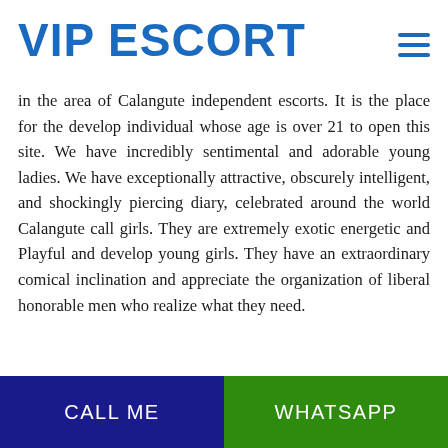VIP ESCORT
in the area of Calangute independent escorts. It is the place for the develop individual whose age is over 21 to open this site. We have incredibly sentimental and adorable young ladies. We have exceptionally attractive, obscurely intelligent, and shockingly piercing diary, celebrated around the world Calangute call girls. They are extremely exotic energetic and Playful and develop young girls. They have an extraordinary comical inclination and appreciate the organization of liberal honorable men who realize what they need.
CALL ME
WHATSAPP